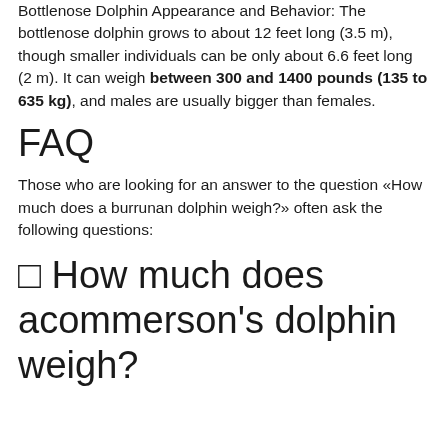Bottlenose Dolphin Appearance and Behavior: The bottlenose dolphin grows to about 12 feet long (3.5 m), though smaller individuals can be only about 6.6 feet long (2 m). It can weigh between 300 and 1400 pounds (135 to 635 kg), and males are usually bigger than females.
FAQ
Those who are looking for an answer to the question «How much does a burrunan dolphin weigh?» often ask the following questions:
⬜ How much does acommerson's dolphin weigh?